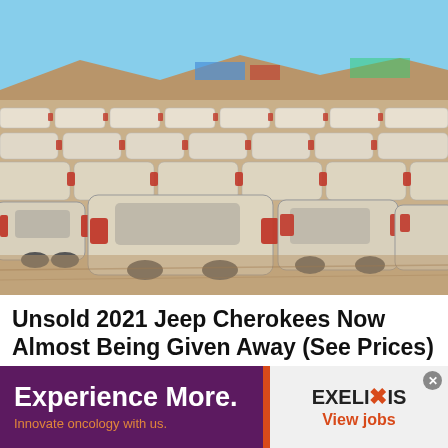[Figure (photo): Aerial/ground-level view of a large lot filled with rows of white SUVs/cars parked in a desert-like setting with mountains and blue sky in the background.]
Unsold 2021 Jeep Cherokees Now Almost Being Given Away (See Prices)
Jeep Cherokee | Search Ads | Sponsored
[Figure (other): Advertisement banner. Left side: dark purple background with orange accent stripe, white bold text 'Experience More.' and orange text 'Innovate oncology with us.' Right side: light gray background with EXELIXIS logo and orange 'View jobs' text. Close button (x) in top right corner.]